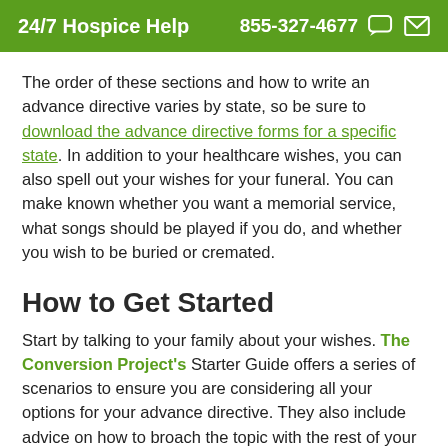24/7 Hospice Help  855-327-4677
The order of these sections and how to write an advance directive varies by state, so be sure to download the advance directive forms for a specific state. In addition to your healthcare wishes, you can also spell out your wishes for your funeral. You can make known whether you want a memorial service, what songs should be played if you do, and whether you wish to be buried or cremated.
How to Get Started
Start by talking to your family about your wishes. The Conversion Project's Starter Guide offers a series of scenarios to ensure you are considering all your options for your advance directive. They also include advice on how to broach the topic with the rest of your family. For the more technologically inclined, My Directives offers